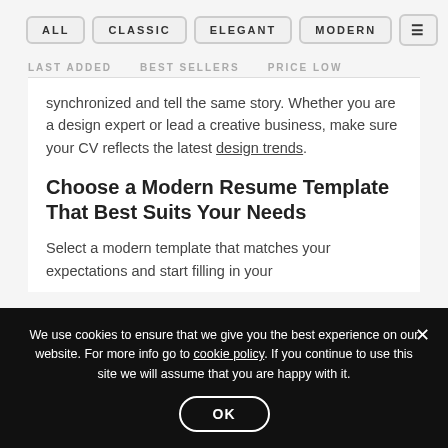ALL  CLASSIC  ELEGANT  MODERN  [menu]
LAST ADDED  BEST SELLERS  PRICE LOW
synchronized and tell the same story. Whether you are a design expert or lead a creative business, make sure your CV reflects the latest design trends.
Choose a Modern Resume Template That Best Suits Your Needs
Select a modern template that matches your expectations and start filling in your
We use cookies to ensure that we give you the best experience on our website. For more info go to cookie policy. If you continue to use this site we will assume that you are happy with it.
OK